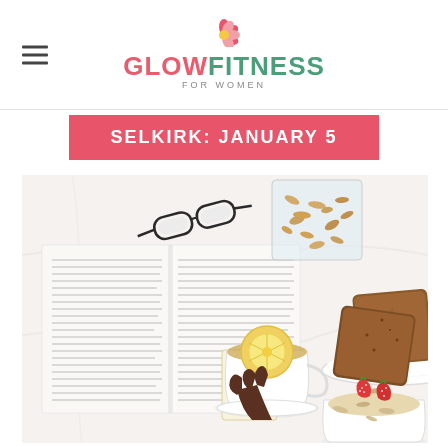GLOW FITNESS FOR WOMEN
SELKIRK: JANUARY 5
[Figure (photo): Overhead flat-lay photo on white bedding showing an open book with reading glasses on top, a hand holding a cup of lemon tea, a glass bowl of granola/nuts, slices of whole grain toast on a plate, and a bowl of oats with strawberries.]